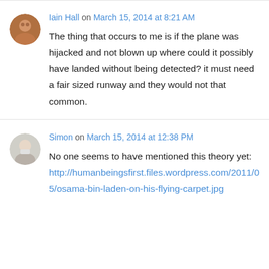Iain Hall on March 15, 2014 at 8:21 AM
The thing that occurs to me is if the plane was hijacked and not blown up where could it possibly have landed without being detected? it must need a fair sized runway and they would not that common.
Simon on March 15, 2014 at 12:38 PM
No one seems to have mentioned this theory yet: http://humanbeingsfirst.files.wordpress.com/2011/05/osama-bin-laden-on-his-flying-carpet.jpg